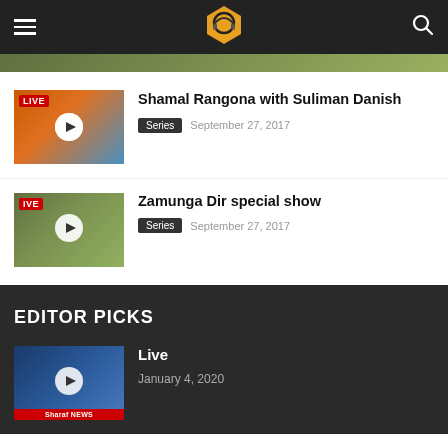App header with logo (headphones icon), hamburger menu, search icon
Shamal Rangona with Suliman Danish — Series — September 27, 2017
Zamunga Dir special show — Series — September 27, 2017
EDITOR PICKS
Live — January 4, 2020